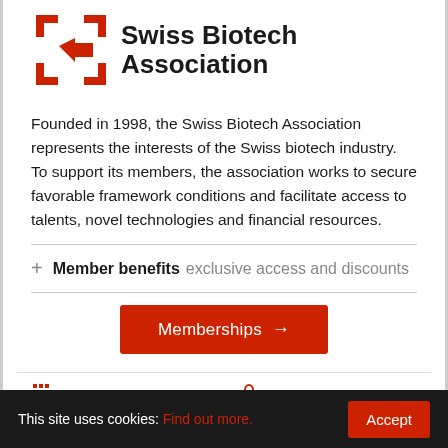[Figure (logo): Swiss Biotech Association logo — red cross-bracket symbol with 'Swiss Biotech Association' text in bold black]
Founded in 1998, the Swiss Biotech Association represents the interests of the Swiss biotech industry. To support its members, the association works to secure favorable framework conditions and facilitate access to talents, novel technologies and financial resources.
+ Member benefits exclusive access and discounts
[Figure (infographic): Red 'Memberships →' button]
Members directory
Product pipeline
Online communities
Academy seminars
This site uses cookies: Find out more. Accept